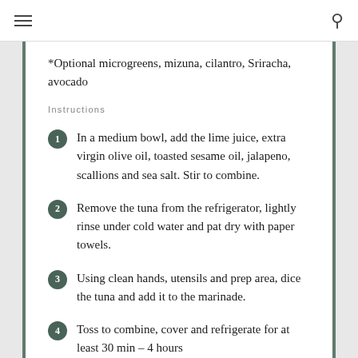*Optional microgreens, mizuna, cilantro, Sriracha, avocado
Instructions
In a medium bowl, add the lime juice, extra virgin olive oil, toasted sesame oil, jalapeno, scallions and sea salt. Stir to combine.
Remove the tuna from the refrigerator, lightly rinse under cold water and pat dry with paper towels.
Using clean hands, utensils and prep area, dice the tuna and add it to the marinade.
Toss to combine, cover and refrigerate for at least 30 min – 4 hours
Wh...